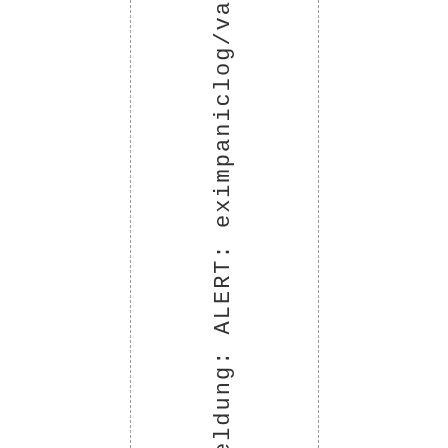rmeldung: ALERT: eximpaniclog/va